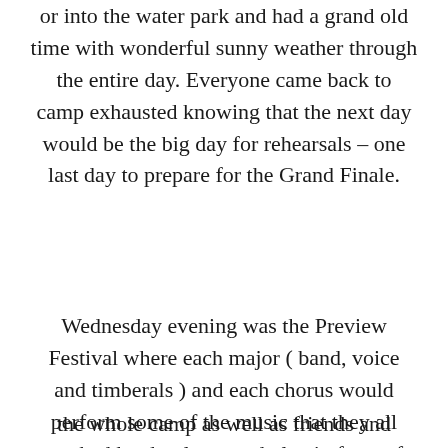or into the water park and had a grand old time with wonderful sunny weather through the entire day. Everyone came back to camp exhausted knowing that the next day would be the big day for rehearsals – one last day to prepare for the Grand Finale.
Wednesday evening was the Preview Festival where each major ( band, voice and timberals ) and each chorus would perform some of the music that they all worked hard to learn and play in front of
the whole camp as well as friends and